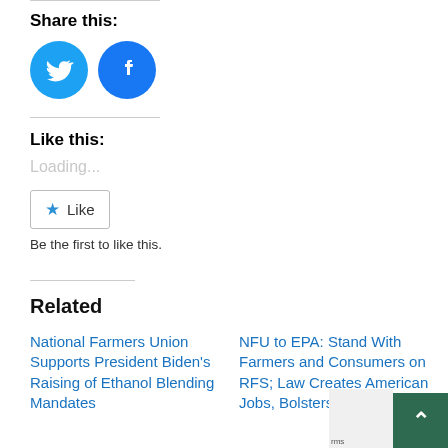Share this:
[Figure (other): Twitter and Facebook social share icon buttons (circular blue icons)]
Like this:
Loading...
[Figure (other): Like button with star icon]
Be the first to like this.
Related
National Farmers Union Supports President Biden's Raising of Ethanol Blending Mandates
NFU to EPA: Stand With Farmers and Consumers on RFS; Law Creates American Jobs, Bolsters...